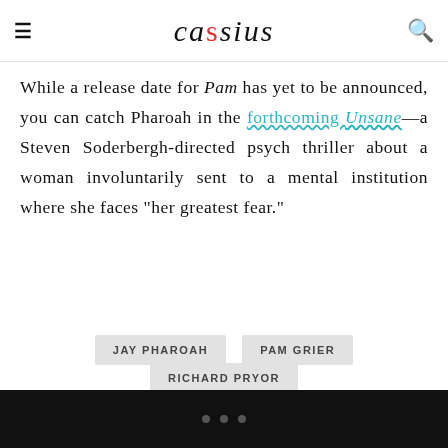cassius
While a release date for Pam has yet to be announced, you can catch Pharoah in the forthcoming Unsane—a Steven Soderbergh-directed psych thriller about a woman involuntarily sent to a mental institution where she faces “her greatest fear.”
JAY PHAROAH
PAM GRIER
RICHARD PRYOR
...